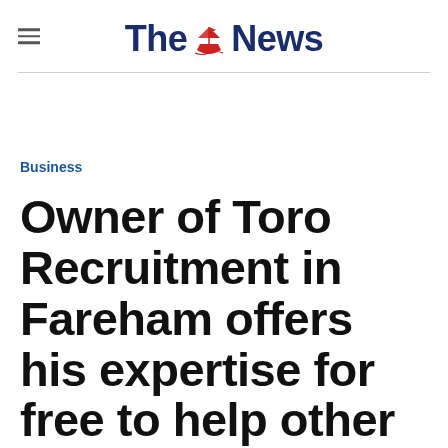The News
Business
Owner of Toro Recruitment in Fareham offers his expertise for free to help other neurodiverse entrepreneurs 'propel'